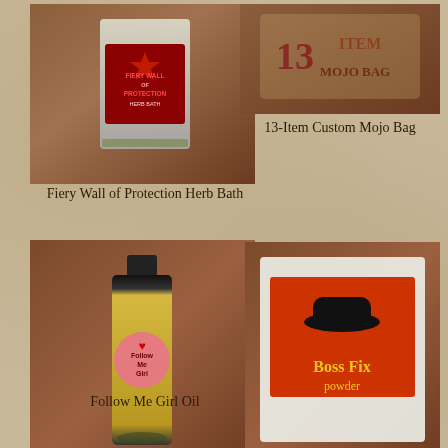[Figure (photo): Fiery Wall of Protection Herb Bath product in a small plastic bag with a red label]
Fiery Wall of Protection Herb Bath
[Figure (photo): 13-Item Custom Mojo Bag product with logo showing the number 13 and text MOJO BAG]
13-Item Custom Mojo Bag
[Figure (photo): Follow Me Girl Oil in a small glass bottle with a pink heart label]
Follow Me Girl Oil
[Figure (photo): Boss Fix Powder in a white packet with an orange and red label showing a black bowler hat]
Boss Fix Powder